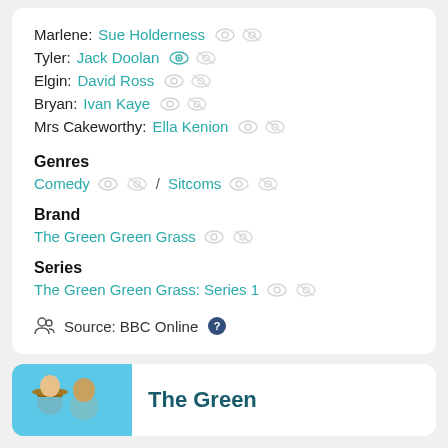Marlene: Sue Holderness
Tyler: Jack Doolan
Elgin: David Ross
Bryan: Ivan Kaye
Mrs Cakeworthy: Ella Kenion
Genres
Comedy / Sitcoms
Brand
The Green Green Grass
Series
The Green Green Grass: Series 1
Source: BBC Online
The Green